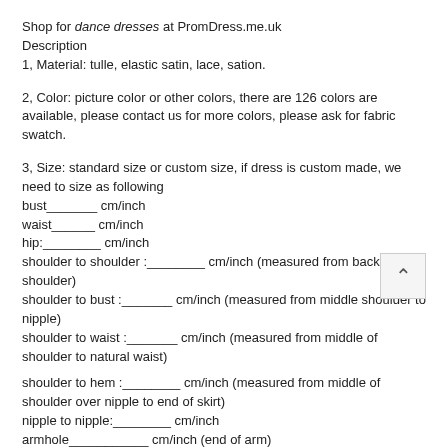Shop for dance dresses at PromDress.me.uk
Description
1, Material: tulle, elastic satin, lace, sation.
2, Color: picture color or other colors, there are 126 colors are available, please contact us for more colors, please ask for fabric swatch.
3, Size: standard size or custom size, if dress is custom made, we need to size as following
bust_______ cm/inch
waist______ cm/inch
hip:________ cm/inch
shoulder to shoulder :________ cm/inch (measured from back of shoulder)
shoulder to bust :_______ cm/inch (measured from middle shoulder to nipple)
shoulder to waist :_______ cm/inch (measured from middle of shoulder to natural waist)
shoulder to hem :________ cm/inch (measured from middle of shoulder over nipple to end of skirt)
nipple to nipple:________ cm/inch
armhole___________ cm/inch (end of arm)